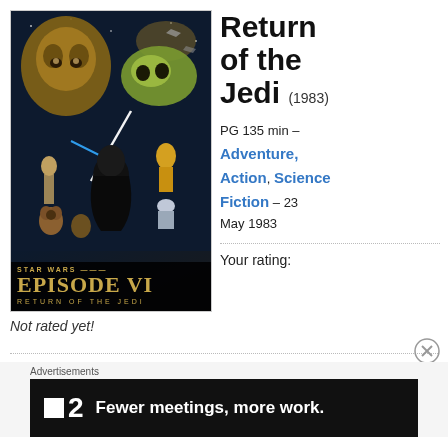[Figure (photo): Movie poster for Star Wars Episode VI: Return of the Jedi, showing characters including Chewbacca, Jabba the Hutt, Darth Vader, C-3PO, R2-D2, and Ewoks with lightsaber effects. Bottom text reads STAR WARS EPISODE VI RETURN OF THE JEDI in gold letters on dark background.]
Return of the Jedi (1983)
PG 135 min – Adventure, Action, Science Fiction – 23 May 1983
Your rating:
Not rated yet!
Advertisements
[Figure (other): Advertisement banner for a product/service showing logo with square icon and number 2, with text: Fewer meetings, more work.]